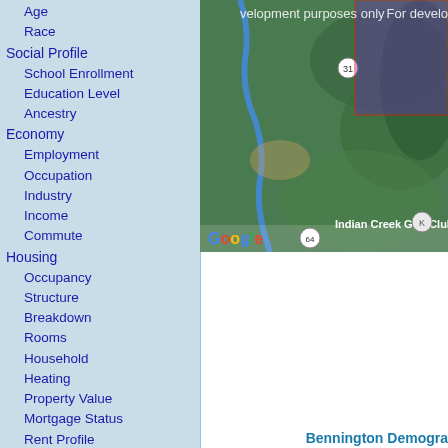Age
Race
Social Profile
School Enrollment
Education Level
Ancestry
Economy
Employment
Occupation
Industry
Income
Commute
Housing
Occupancy
Structure
Breakdown
Rooms
Household
Heating
Property Value
Mortgage Status
Rent Profile
Vehicle Usage
[Figure (map): Google Maps satellite/terrain view showing Indian Creek Golf Club area near Bennington. Map has a red rectangle overlay indicating a selected area. Shows route 31 and route 64, Elkhorn River labeled. Watermark says 'For development purposes only'.]
Bennington Zip Codes
68007
Bennington Demogra...